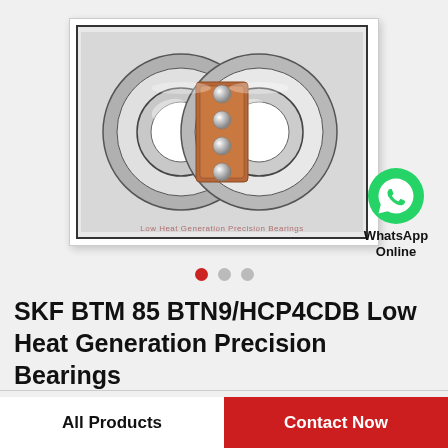[Figure (photo): Two SKF angular contact ball bearings shown in cross-section view, with copper/brown cage visible, steel rings and silver balls. Watermark text: Low Heat Generation Precision Bearings]
[Figure (logo): WhatsApp icon (green circle with white phone handset) with text 'WhatsApp Online' below]
SKF BTM 85 BTN9/HCP4CDB Low Heat Generation Precision Bearings
All Products
Contact Now